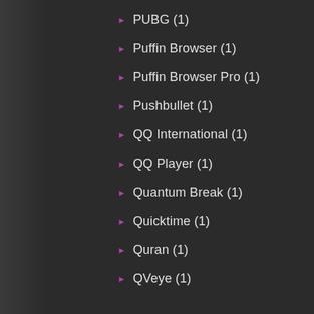PUBG (1)
Puffin Browser (1)
Puffin Browser Pro (1)
Pushbullet (1)
QQ International (1)
QQ Player (1)
Quantum Break (1)
Quicktime (1)
Quran (1)
QVeye (1)